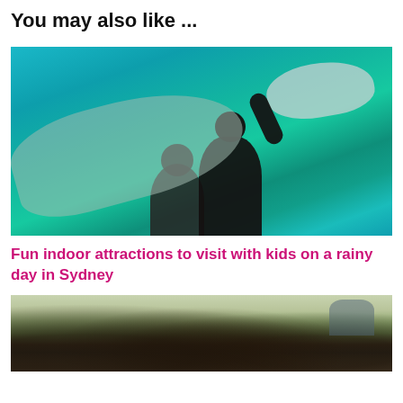You may also like ...
[Figure (photo): Children silhouetted against a large aquarium tank with fish and a ray visible through the glass in a teal-blue underwater scene]
Fun indoor attractions to visit with kids on a rainy day in Sydney
[Figure (photo): Outdoor zoo or wildlife park scene with many visitors/families gathered, trees and structures in background under a clear sky]